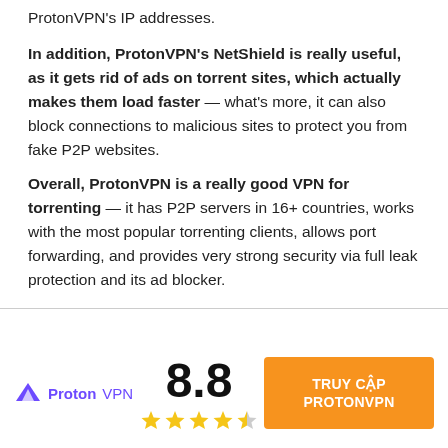ProtonVPN's IP addresses.
In addition, ProtonVPN's NetShield is really useful, as it gets rid of ads on torrent sites, which actually makes them load faster — what's more, it can also block connections to malicious sites to protect you from fake P2P websites.
Overall, ProtonVPN is a really good VPN for torrenting — it has P2P servers in 16+ countries, works with the most popular torrenting clients, allows port forwarding, and provides very strong security via full leak protection and its ad blocker.
[Figure (logo): ProtonVPN logo with purple triangle icon and 'ProtonVPN' text in purple]
8.8
[Figure (other): 4.5 out of 5 stars rating using gold star icons]
TRUY CẬP PROTONVPN